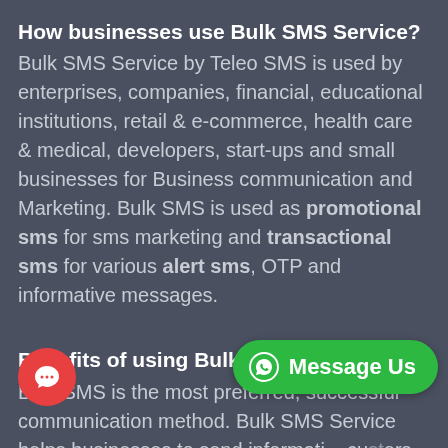How businesses use Bulk SMS Service?
Bulk SMS Service by Teleo SMS is used by enterprises, companies, financial, educational institutions, retail & e-commerce, health care & medical, developers, start-ups and small businesses for Business communication and Marketing. Bulk SMS is used as promotional sms for sms marketing and transactional sms for various alert sms, OTP and informative messages.
Benefits of using Bulk SMS?
Bulk SMS is the most preferred, successful communication method. Bulk SMS Service helps businesses to send informati... customers. Bulk SMS is cheaper than any other medium of transactional or promotional